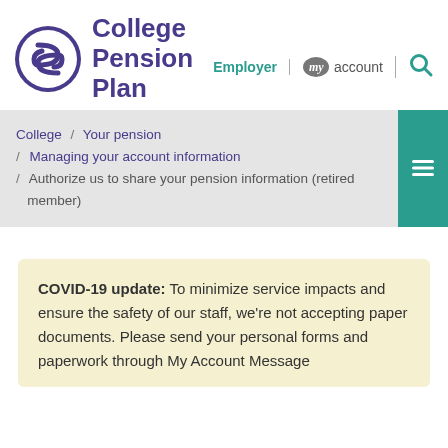[Figure (logo): College Pension Plan logo with purple circular icon and purple text]
Employer | my account | [search icon]
College / Your pension / Managing your account information / Authorize us to share your pension information (retired member)
COVID-19 update: To minimize service impacts and ensure the safety of our staff, we're not accepting paper documents. Please send your personal forms and paperwork through My Account Message